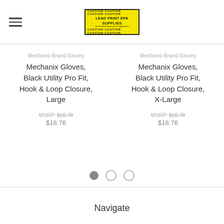[Figure (logo): Lead Paint EPA Supplies logo with yellow background and CAUTION text borders]
Mechanix Brand Gloves
Mechanix Gloves, Black Utility Pro Fit, Hook & Loop Closure, Large
MSRP: $19.78
$18.76
Mechanix Brand Gloves
Mechanix Gloves, Black Utility Pro Fit, Hook & Loop Closure, X-Large
MSRP: $19.78
$18.76
Navigate